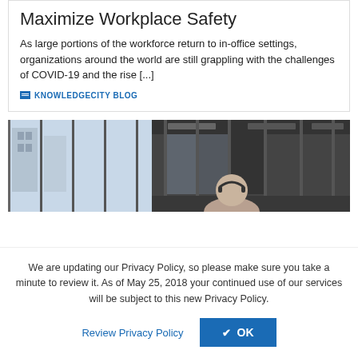Maximize Workplace Safety
As large portions of the workforce return to in-office settings, organizations around the world are still grappling with the challenges of COVID-19 and the rise [...]
KNOWLEDGECITY BLOG
[Figure (photo): Office corridor with large windows, blurred background showing building exterior on the left and a person with headphones seated in the foreground]
We are updating our Privacy Policy, so please make sure you take a minute to review it. As of May 25, 2018 your continued use of our services will be subject to this new Privacy Policy.
Review Privacy Policy   ✓ OK